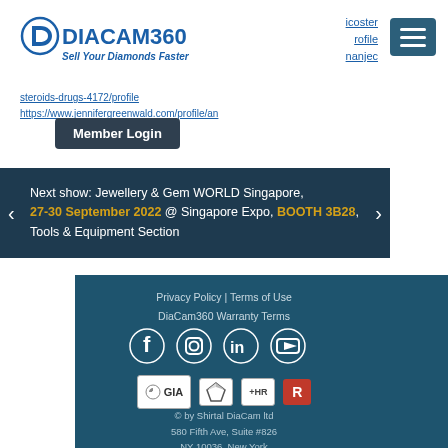[Figure (logo): DiaCam360 logo with tagline 'Sell Your Diamonds Faster']
icoster
rofile
nanjec
steroids-drugs-4172/profile
https://www.jennifergreenwald.com/profile/an
Member Login
Next show: Jewellery & Gem WORLD Singapore, 27-30 September 2022 @ Singapore Expo, BOOTH 3B28, Tools & Equipment Section
Privacy Policy | Terms of Use
DiaCam360 Warranty Terms
[Figure (infographic): Social media icons: Facebook, Instagram, LinkedIn, YouTube]
[Figure (logo): Partner logos: GIA, diamond certification mark, HR, R badges]
© by Shirtal DiaCam ltd
580 Fifth Ave, Suite #826
NY 10036, New York